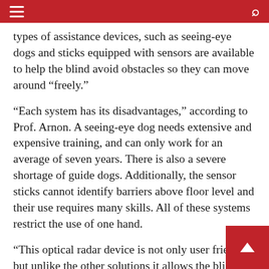[Navigation bar with hamburger menu and search icon]
types of assistance devices, such as seeing-eye dogs and sticks equipped with sensors are available to help the blind avoid obstacles so they can move around “freely.”
“Each system has its disadvantages,” according to Prof. Arnon. A seeing-eye dog needs extensive and expensive training, and can only work for an average of seven years. There is also a severe shortage of guide dogs. Additionally, the sensor sticks cannot identify barriers above floor level and their use requires many skills. All of these systems restrict the use of one hand.
“This optical radar device is not only user friendly, but unlike the other solutions it allows the blind to have the use of both of their hands.”